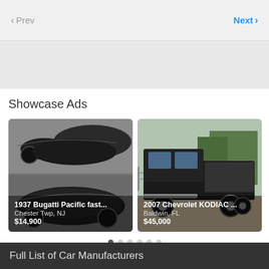< Prev    Next >
[Figure (other): Advertisement banner area, light gray background]
Showcase Ads
[Figure (photo): 1937 Bugatti Pacific fastback, black streamlined classic car, two views stacked]
1937 Bugatti Pacific fast...
Chester Twp, NJ
$14,900
[Figure (photo): 2007 Chevrolet KODIAC black heavy duty truck on flatbed, outdoors with trees in background]
2007 Chevrolet KODIAC ...
Baldwin, FL
$45,000
Full List of Car Manufacturers